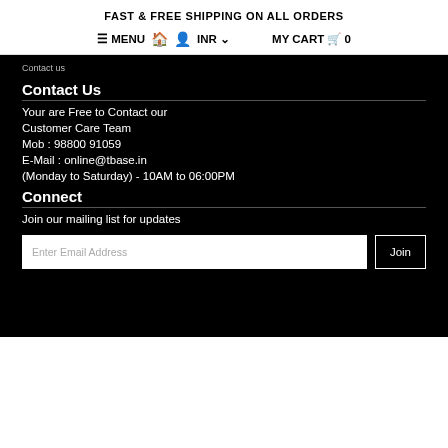FAST & FREE SHIPPING ON ALL ORDERS
≡ MENU  🏠  👤  INR ∨  MY CART 🛒 0
Contact us
Contact Us
Your are Free to Contact our
Customer Care Team
Mob : 98800 91059
E-Mail : online@tbase.in
(Monday to Saturday) - 10AM to 06:00PM
Connect
Join our mailing list for updates
Enter Email Address  Join